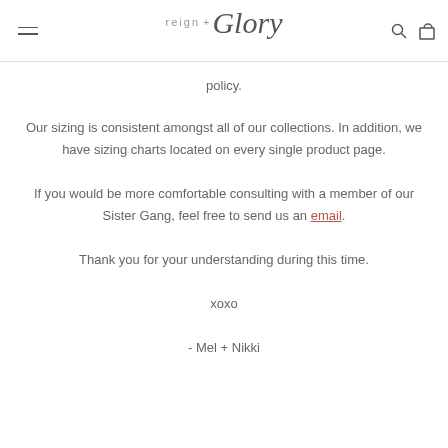reign + Glory
policy.
Our sizing is consistent amongst all of our collections. In addition, we have sizing charts located on every single product page.
If you would be more comfortable consulting with a member of our Sister Gang, feel free to send us an email.
Thank you for your understanding during this time.
xoxo
- Mel + Nikki